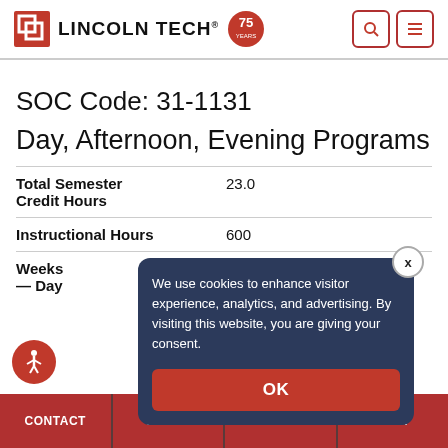[Figure (logo): Lincoln Tech 75 years logo with search and menu icons in header]
SOC Code: 31-1131
Day, Afternoon, Evening Programs
| Total Semester Credit Hours | 23.0 |
| Instructional Hours | 600 |
| Weeks — Day | (scheduled) |
We use cookies to enhance visitor experience, analytics, and advertising. By visiting this website, you are giving your consent.
CONTACT   APPLY   CALL   CHAT